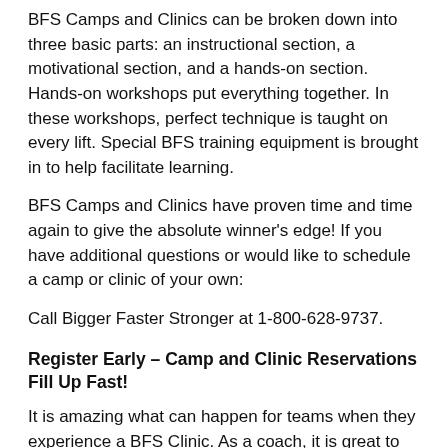BFS Camps and Clinics can be broken down into three basic parts: an instructional section, a motivational section, and a hands-on section. Hands-on workshops put everything together. In these workshops, perfect technique is taught on every lift. Special BFS training equipment is brought in to help facilitate learning.
BFS Camps and Clinics have proven time and time again to give the absolute winner’s edge! If you have additional questions or would like to schedule a camp or clinic of your own:
Call Bigger Faster Stronger at 1-800-628-9737.
Register Early – Camp and Clinic Reservations Fill Up Fast!
It is amazing what can happen for teams when they experience a BFS Clinic. As a coach, it is great to see the underdogs rise to the top, and watch the great teams achieve excellence. Although, there is one thing that tops them all, being part of a team, coaching staff, school, or community that becomes united in a common goal, to strive for greatness in all areas of life.